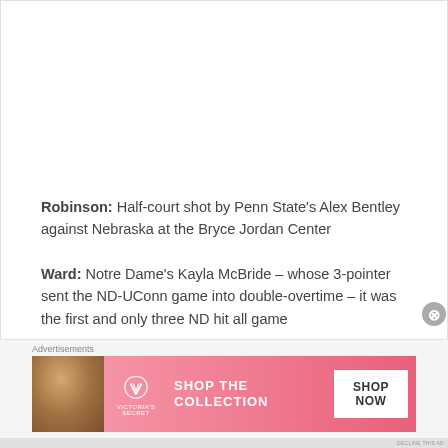Robinson: Half-court shot by Penn State's Alex Bentley against Nebraska at the Bryce Jordan Center
Ward: Notre Dame's Kayla McBride – whose 3-pointer sent the ND-UConn game into double-overtime – it was the first and only three ND hit all game
[Figure (other): Victoria's Secret advertisement banner with a woman model on the left, VS logo in the center-left, 'SHOP THE COLLECTION' text, and 'SHOP NOW' button on white background]